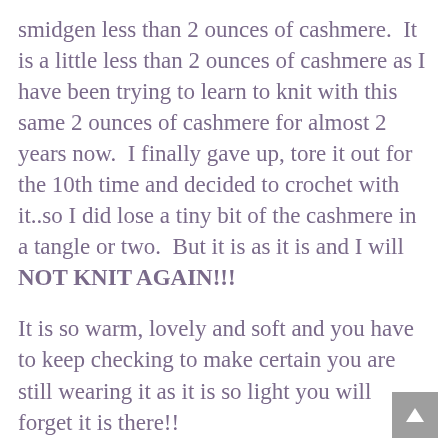smidgen less than 2 ounces of cashmere.  It is a little less than 2 ounces of cashmere as I have been trying to learn to knit with this same 2 ounces of cashmere for almost 2 years now.  I finally gave up, tore it out for the 10th time and decided to crochet with it..so I did lose a tiny bit of the cashmere in a tangle or two.  But it is as it is and I will NOT KNIT AGAIN!!!
It is so warm, lovely and soft and you have to keep checking to make certain you are still wearing it as it is so light you will forget it is there!!
I hand dyed it with Kool Aid.  SIX packets if you can believe that one!!  I started with 3 packets and it sucked up that colour totally so the remaining water was clear.  I decided to try another 3 packets and the water was only slightly tinged with pink but that was OK as the scarf was now